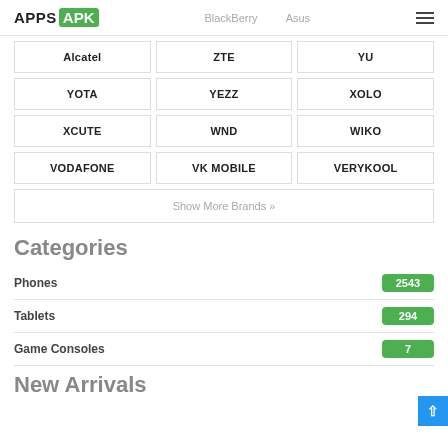APPS APK | BlackBerry | Asus
Alcatel
ZTE
YU
YOTA
YEZZ
XOLO
XCUTE
WND
WIKO
VODAFONE
VK MOBILE
VERYKOOL
Show More Brands »
Categories
Phones 2543
Tablets 294
Game Consoles 7
New Arrivals